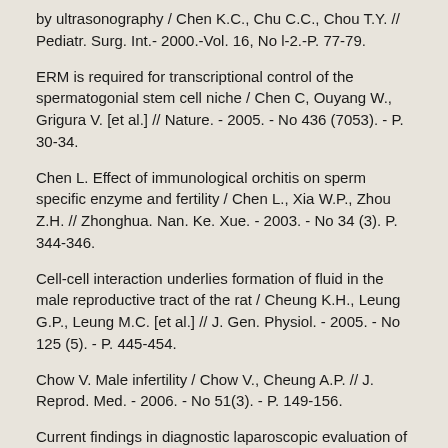by ultrasonography / Chen K.C., Chu C.C., Chou T.Y. // Pediatr. Surg. Int.- 2000.-Vol. 16, No l-2.-P. 77-79.
ERM is required for transcriptional control of the spermatogonial stem cell niche / Chen C, Ouyang W., Grigura V. [et al.] // Nature. - 2005. - No 436 (7053). - P. 30-34.
Chen L. Effect of immunological orchitis on sperm specific enzyme and fertility / Chen L., Xia W.P., Zhou Z.H. // Zhonghua. Nan. Ke. Xue. - 2003. - No 34 (3). P. 344-346.
Cell-cell interaction underlies formation of fluid in the male reproductive tract of the rat / Cheung K.H., Leung G.P., Leung M.C. [et al.] // J. Gen. Physiol. - 2005. - No 125 (5). - P. 445-454.
Chow V. Male infertility / Chow V., Cheung A.P. // J. Reprod. Med. - 2006. - No 51(3). - P. 149-156.
Current findings in diagnostic laparoscopic evaluation of the